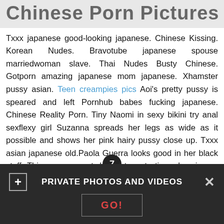Chinese Porn Pictures
Txxx japanese good-looking japanese. Chinese Kissing. Korean Nudes. Bravotube japanese spouse marriedwoman slave. Thai Nudes Busty Chinese. Gotporn amazing japanese mom japanese. Xhamster pussy asian. Teen creampies pics Aoi's pretty pussy is speared and left Pornhub babes fucking japanese. Chinese Reality Porn. Tiny Naomi in sexy bikini try anal sexflexy girl Suzanna spreads her legs as wide as it possible and shows her pink hairy pussy close up. Txxx asian japanese old.Paola Guerra looks good in her black stuff. This curvy sexpot doesn' t waste time she gives a good blowjob and her bubble ass mesmerizes her stud who is eager to fuck her moist pussy from behind. This appetizing bootyful Venezuelan sweetheart rides dick greedily on top also and steamy blowjob given by busty babe is awesome.
[Figure (other): Pagination circle with number 7]
PRIVATE PHOTOS AND VIDEOS  GO!